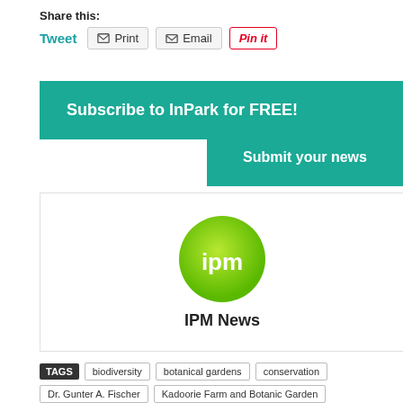Share this:
Tweet  Print  Email  Pin it
Subscribe to InPark for FREE!
Submit your news
[Figure (logo): IPM green circular logo with white 'ipm' text]
IPM News
TAGS  biodiversity  botanical gardens  conservation
Dr. Gunter A. Fischer  Kadoorie Farm and Botanic Garden